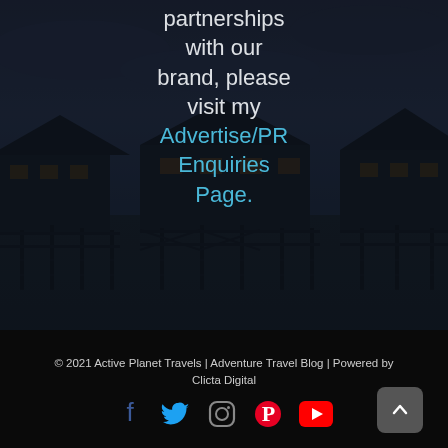partnerships with our brand, please visit my Advertise/PR Enquiries Page.
© 2021 Active Planet Travels | Adventure Travel Blog | Powered by Clicta Digital
[Figure (illustration): Social media icons: Facebook (blue), Twitter (blue), Instagram (dark), Pinterest (red), YouTube (red). Scroll-to-top button (grey rounded square with caret/chevron up icon).]